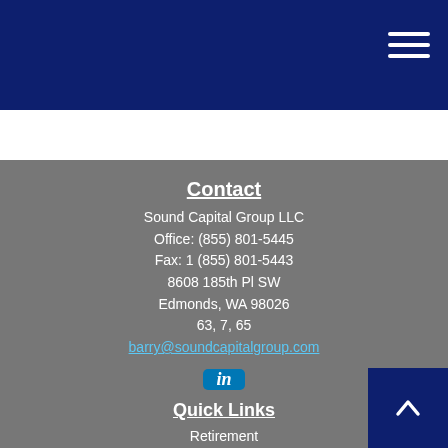Contact
Sound Capital Group LLC
Office: (855) 801-5445
Fax: 1 (855) 801-5443
8608 185th Pl SW
Edmonds, WA 98026
63, 7, 65
barry@soundcapitalgroup.com
[Figure (logo): LinkedIn icon button, blue square with white 'in' text]
Quick Links
Retirement
Investment
Estate